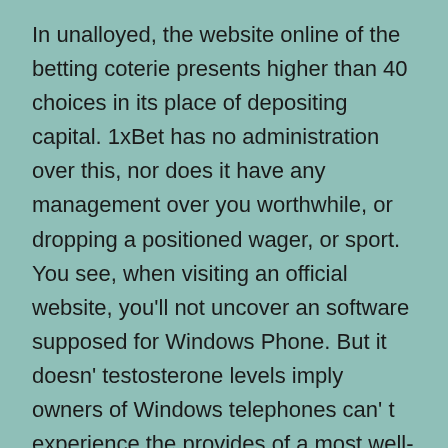In unalloyed, the website online of the betting coterie presents higher than 40 choices in its place of depositing capital. 1xBet has no administration over this, nor does it have any management over you worthwhile, or dropping a positioned wager, or sport. You see, when visiting an official website, you'll not uncover an software supposed for Windows Phone. But it doesn' testosterone levels imply owners of Windows telephones can' t experience the provides of a most well-liked group.
The web site is well known that advises 1xbet right now, a variety of probably the most